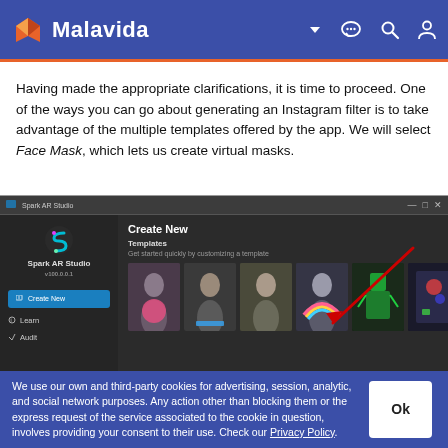Malavida
Having made the appropriate clarifications, it is time to proceed. One of the ways you can go about generating an Instagram filter is to take advantage of the multiple templates offered by the app. We will select Face Mask, which lets us create virtual masks.
[Figure (screenshot): Spark AR Studio application window showing 'Create New' dialog with Templates section. Six template thumbnails are shown including face mask effects. A red diagonal arrow points to one of the templates.]
We use our own and third-party cookies for advertising, session, analytic, and social network purposes. Any action other than blocking them or the express request of the service associated to the cookie in question, involves providing your consent to their use. Check our Privacy Policy.